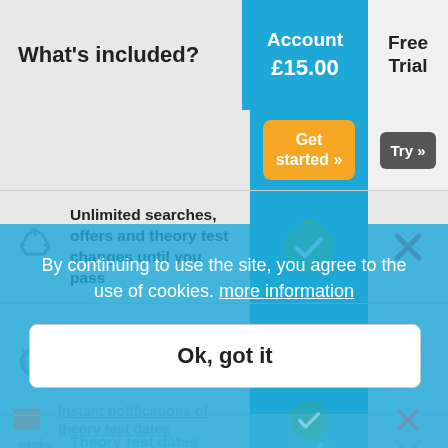What's included?
|  | Account £15.00 | Free Trial |
| --- | --- | --- |
| Unlimited searches, offers and theory test changes until you pass | ✓ | ✗ |
| A theory test cancellation or your money back | ✓ | ✗ |
| Theory test dates reserved just... | ✓ | ✗ |
| Instant notifications of theory test dates | ✓ | ✗ |
By continuing to use the site, you agree to the use of cookies. more information
Ok, got it